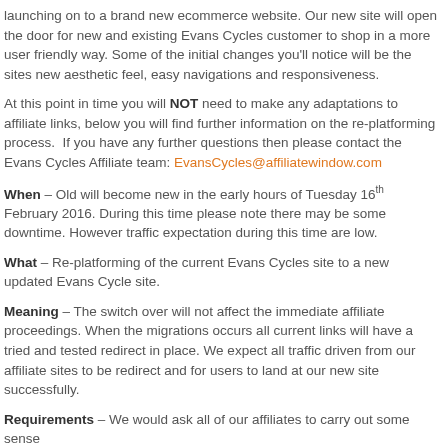launching on to a brand new ecommerce website. Our new site will open the door for new and existing Evans Cycles customer to shop in a more user friendly way. Some of the initial changes you'll notice will be the sites new aesthetic feel, easy navigations and responsiveness.
At this point in time you will NOT need to make any adaptations to affiliate links, below you will find further information on the re-platforming process.  If you have any further questions then please contact the Evans Cycles Affiliate team: EvansCycles@affiliatewindow.com
When – Old will become new in the early hours of Tuesday 16th February 2016. During this time please note there may be some downtime. However traffic expectation during this time are low.
What – Re-platforming of the current Evans Cycles site to a new updated Evans Cycle site.
Meaning – The switch over will not affect the immediate affiliate proceedings. When the migrations occurs all current links will have a tried and tested redirect in place. We expect all traffic driven from our affiliate sites to be redirect and for users to land at our new site successfully.
Requirements – We would ask all of our affiliates to carry out some sense